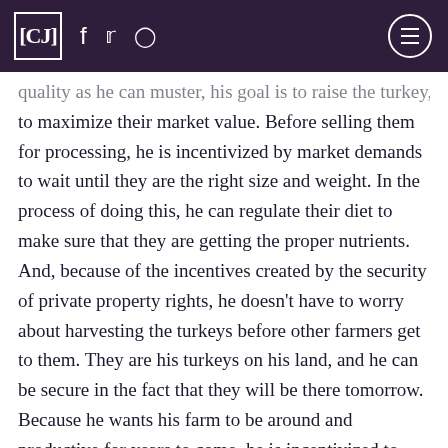CJ [logo] [facebook] [twitter] [instagram] [menu]
quality as he can muster, his goal is to raise the turkey to maximize their market value. Before selling them for processing, he is incentivized by market demands to wait until they are the right size and weight. In the process of doing this, he can regulate their diet to make sure that they are getting the proper nutrients. And, because of the incentives created by the security of private property rights, he doesn't have to worry about harvesting the turkeys before other farmers get to them. They are his turkeys on his land, and he can be secure in the fact that they will be there tomorrow. Because he wants his farm to be around and productive for years to come, he is incentivized to breed his turkeys in ways that ensure that future turkey yields will always be sufficient to meet market demands.